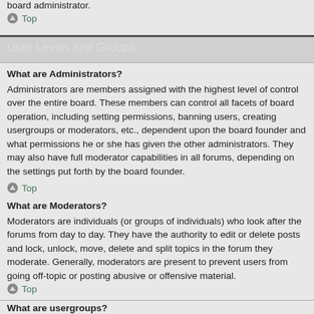board administrator.
Top
User Levels and Groups
What are Administrators?
Administrators are members assigned with the highest level of control over the entire board. These members can control all facets of board operation, including setting permissions, banning users, creating usergroups or moderators, etc., dependent upon the board founder and what permissions he or she has given the other administrators. They may also have full moderator capabilities in all forums, depending on the settings put forth by the board founder.
Top
What are Moderators?
Moderators are individuals (or groups of individuals) who look after the forums from day to day. They have the authority to edit or delete posts and lock, unlock, move, delete and split topics in the forum they moderate. Generally, moderators are present to prevent users from going off-topic or posting abusive or offensive material.
Top
What are usergroups?